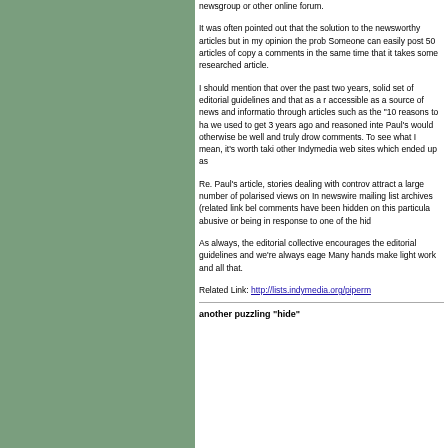newsgroup or other online forum.
It was often pointed out that the solution to the newsworthy articles but in my opinion the prob Someone can easily post 50 articles of copy a comments in the same time that it takes some researched article.
I should mention that over the past two years, solid set of editorial guidelines and that as a r accessible as a source of news and informatio through articles such as the "10 reasons to ha we used to get 3 years ago and reasoned inte Paul's would otherwise be well and truly drow comments. To see what I mean, it's worth taki other Indymedia web sites which ended up as
Re. Paul's article, stories dealing with controv attract a large number of polarised views on In newswire mailing list archives (related link bel comments have been hidden on this particula abusive or being in response to one of the hid
As always, the editorial collective encourages the editorial guidelines and we're always eage Many hands make light work and all that.
Related Link: http://lists.indymedia.org/piperm
another puzzling "hide"